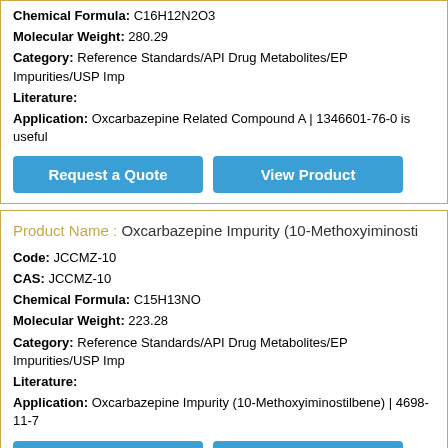Chemical Formula: C16H12N2O3
Molecular Weight: 280.29
Category: Reference Standards/API Drug Metabolites/EP Impurities/USP Imp
Literature:
Application: Oxcarbazepine Related Compound A | 1346601-76-0 is useful
Request a Quote
View Product
Product Name : Oxcarbazepine Impurity (10-Methoxyiminosti
Code: JCCMZ-10
CAS: JCCMZ-10
Chemical Formula: C15H13NO
Molecular Weight: 223.28
Category: Reference Standards/API Drug Metabolites/EP Impurities/USP Imp
Literature:
Application: Oxcarbazepine Impurity (10-Methoxyiminostilbene) | 4698-11-7
Request a Quote
View Product
Product Name : Oxcarbazepine Impurity (5H-Dibenz[b ,f]azep
Code: JCCMZ-09
CAS: 19579-83-0
Chemical Formula: C14H9NO2